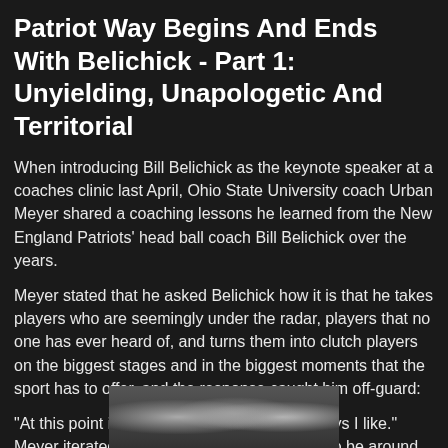Patriot Way Begins And Ends With Belichick - Part 1: Unyielding, Unapologetic And Territorial
When introducing Bill Belichick as the keynote speaker at a coaches clinic last April, Ohio State University coach Urban Meyer shared a coaching lessons he learned from the New England Patriots' head ball coach Bill Belichick over the years.
Meyer stated that he asked Belichick how it is that he takes players who are seemingly under the radar, players that no one has ever heard of, and turns them into clutch players on the biggest stages and in the biggest moments that the sport has to offer, and the response caught him off-guard:
"At this point in my career, I want to coach guys I like." Meyer iterated, "I want to coach guys I want to be around, and that's it. I'm not going to coach anybody else."
[Figure (photo): Photo of people, likely football players or coaches, partially visible at the bottom of the page]